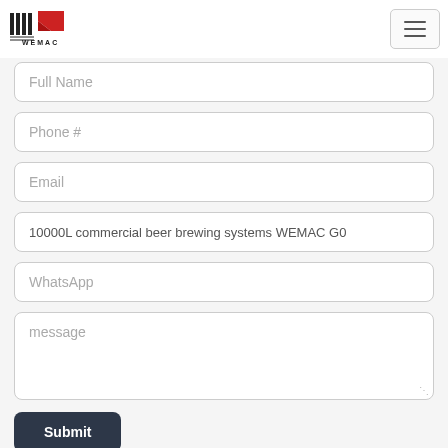Send a Message
If you want to ask anything just fill in the form below and send us.
Full Name
Phone #
Email
10000L commercial beer brewing systems WEMAC G0
WhatsApp
message
Submit